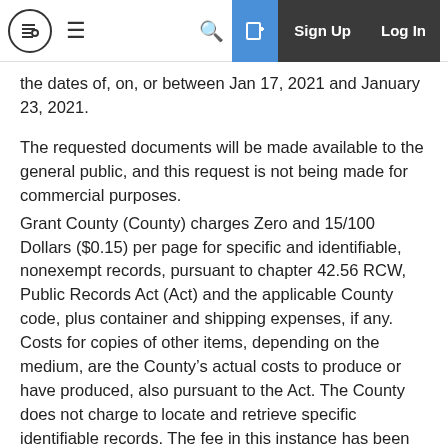Navigation bar with logo, hamburger menu, search, share, Sign Up, and Log In buttons
the dates of, on, or between Jan 17, 2021 and January 23, 2021.
The requested documents will be made available to the general public, and this request is not being made for commercial purposes.
Grant County (County) charges Zero and 15/100 Dollars ($0.15) per page for specific and identifiable, nonexempt records, pursuant to chapter 42.56 RCW, Public Records Act (Act) and the applicable County code, plus container and shipping expenses, if any.  Costs for copies of other items, depending on the medium, are the County's actual costs to produce or have produced, also pursuant to the Act.  The County does not charge to locate and retrieve specific identifiable records.  The fee in this instance has been waived due to the de minimus amount.
Responsive documents have been released to the Public Records Center and are